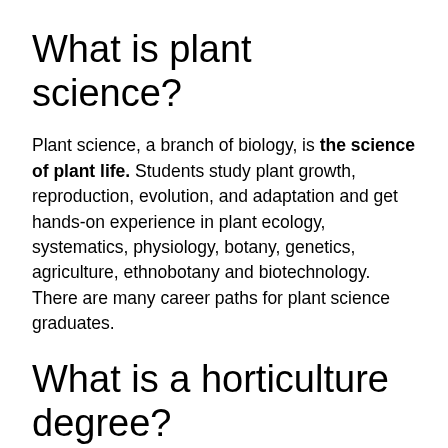What is plant science?
Plant science, a branch of biology, is the science of plant life. Students study plant growth, reproduction, evolution, and adaptation and get hands-on experience in plant ecology, systematics, physiology, botany, genetics, agriculture, ethnobotany and biotechnology. There are many career paths for plant science graduates.
What is a horticulture degree?